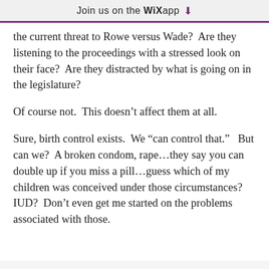Join us on the WiX app ↓
the current threat to Rowe versus Wade?  Are they listening to the proceedings with a stressed look on their face?  Are they distracted by what is going on in the legislature?
Of course not.  This doesn't affect them at all.
Sure, birth control exists.  We “can control that.”   But can we?  A broken condom, rape…they say you can double up if you miss a pill…guess which of my children was conceived under those circumstances?  IUD?  Don’t even get me started on the problems associated with those.